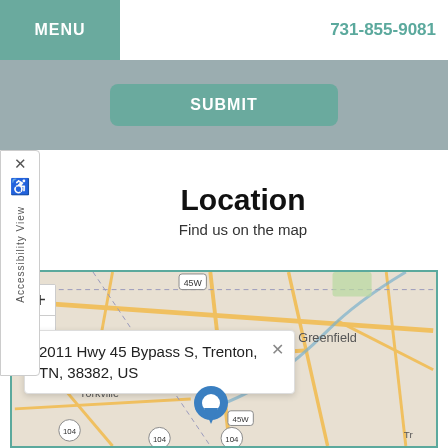MENU  731-855-9081
SUBMIT
Location
Find us on the map
[Figure (map): Street map showing Rutherford, Yorkville, Greenfield area in Tennessee with a location pin for 2011 Hwy 45 Bypass S, Trenton, TN, 38382, US]
2011 Hwy 45 Bypass S, Trenton, TN, 38382, US